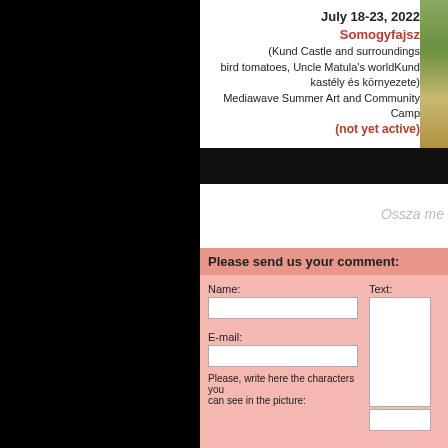July 18-23, 2022
Somogyfajsz
(Kund Castle and surroundings bird tomatoes, Uncle Matula's worldKund kastély és környezete)
Mediawave Summer Art and Community Camp
(not yet active)
[Figure (photo): Green outdoor photo strip on right side]
Ossza me
Please send us your comment:
Name:
Text:
E-mail:
Please, write here the characters you can see in the picture: